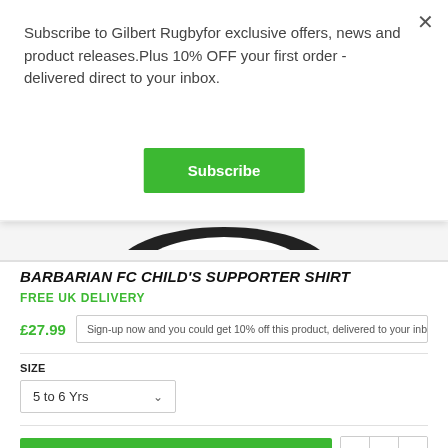Subscribe to Gilbert Rugbyfor exclusive offers, news and product releases.Plus 10% OFF your first order - delivered direct to your inbox.
Subscribe
[Figure (screenshot): Partial view of a rugby shirt collar in black and white]
BARBARIAN FC CHILD'S SUPPORTER SHIRT
FREE UK DELIVERY
£27.99
Sign-up now and you could get 10% off this product, delivered to your inbox
SIZE
5 to 6 Yrs
ADD TO BASKET
1